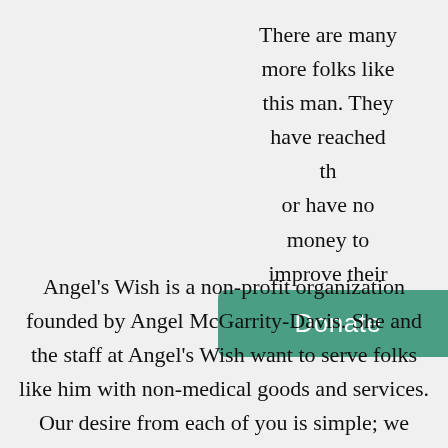There are many more folks like this man. They have reached th… or have no money to improve their condition in life.
Angel's Wish is a non-profit organization founded by Angel McGarrity-Davis. She and the staff at Angel's Wish want to serve folks like him with non-medical goods and services. Our desire from each of you is simple; we need you to catch this vision and help.